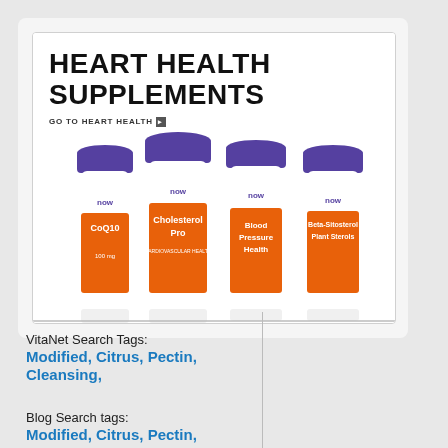[Figure (photo): Heart Health Supplements banner showing four NOW brand supplement bottles: CoQ10 (100mg), Cholesterol Pro, Blood Pressure Health, and Beta-Sitosterol Plant Sterols, with purple caps and orange labels]
VitaNet Search Tags:
Modified, Citrus, Pectin, Cleansing,
Blog Search tags:
Modified, Citrus, Pectin,